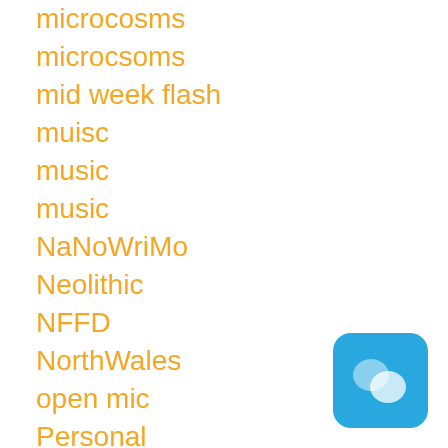microcosms
microcsoms
mid week flash
muisc
music
music
NaNoWriMo
Neolithic
NFFD
NorthWales
open mic
Personal
Photos
Podcast
Poems
Poised Pen
[Figure (logo): Blue rounded square icon with two overlapping chat bubble shapes in lighter blue/white]